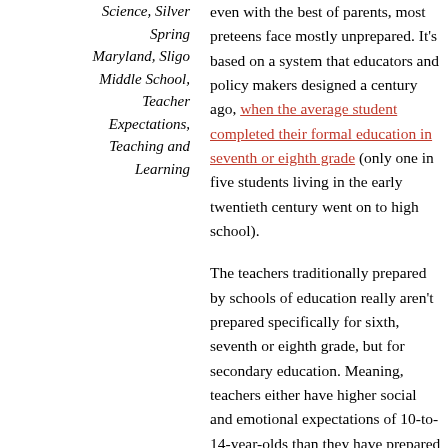Science, Silver Spring Maryland, Sligo Middle School, Teacher Expectations, Teaching and Learning
even with the best of parents, most preteens face mostly unprepared. It's based on a system that educators and policy makers designed a century ago, when the average student completed their formal education in seventh or eighth grade (only one in five students living in the early twentieth century went on to high school).
The teachers traditionally prepared by schools of education really aren't prepared specifically for sixth, seventh or eighth grade, but for secondary education. Meaning, teachers either have higher social and emotional expectations of 10-to-14-year-olds than they have prepared for, or they have higher academic expectation of their students than the students have been prepared for, or both. These are among the reasons why middle schools can easily become a black hole for students too young to be dealing with teachers trained really for high school, and a black